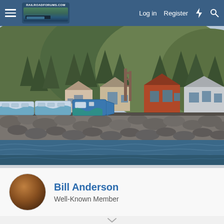RailroadForums.com — Log in  Register
[Figure (photo): Scenic coastal railroad photo: a blue and white passenger train runs along a rocky shoreline with houses and forested hills in the background. Water is in the foreground.]
Bill Anderson
Well-Known Member